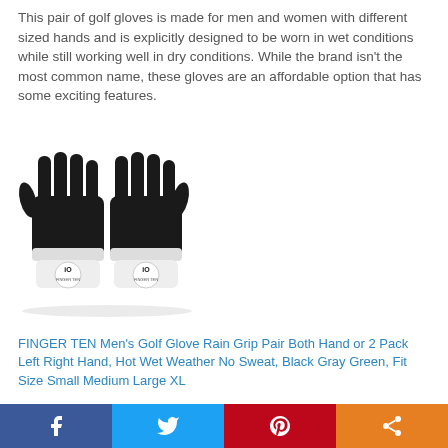This pair of golf gloves is made for men and women with different sized hands and is explicitly designed to be worn in wet conditions while still working well in dry conditions. While the brand isn't the most common name, these gloves are an affordable option that has some exciting features.
[Figure (photo): Two black golf gloves displayed side by side with FINGER TEN branding logos on the wrists]
FINGER TEN Men's Golf Glove Rain Grip Pair Both Hand or 2 Pack Left Right Hand, Hot Wet Weather No Sweat, Black Gray Green, Fit Size Small Medium Large XL
Develop Your Perform In Rain, Hot, Wet Conditions: A Best Choice for Rain Hot Wet Weather Daily Practice, Unbeatable Wet